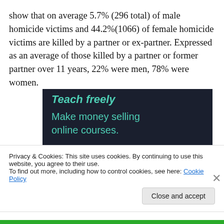show that on average 5.7% (296 total) of male homicide victims and 44.2%(1066) of female homicide victims are killed by a partner or ex-partner. Expressed as an average of those killed by a partner or former partner over 11 years, 22% were men, 78% were women.
[Figure (screenshot): Advertisement banner with dark navy background showing text 'Teach freely' in teal italic and 'Make money selling online courses.' in teal below it.]
Privacy & Cookies: This site uses cookies. By continuing to use this website, you agree to their use.
To find out more, including how to control cookies, see here: Cookie Policy